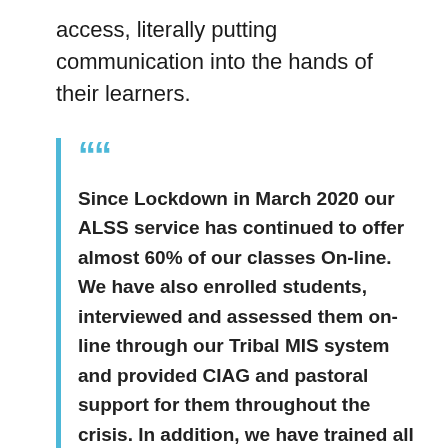access, literally putting communication into the hands of their learners.
Since Lockdown in March 2020 our ALSS service has continued to offer almost 60% of our classes On-line. We have also enrolled students, interviewed and assessed them on-line through our Tribal MIS system and provided CIAG and pastoral support for them throughout the crisis. In addition, we have trained all of our staff in the use of digital